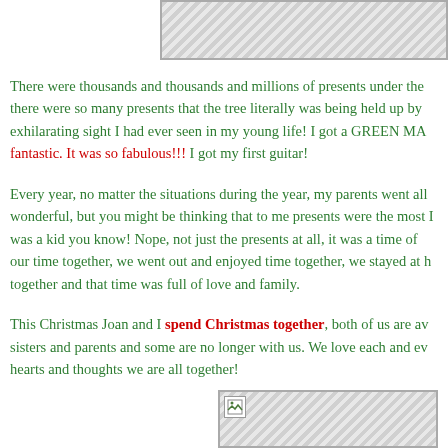[Figure (photo): Top image placeholder with hatched background pattern]
There were thousands and thousands and millions of presents under the there were so many presents that the tree literally was being held up by exhilarating sight I had ever seen in my young life! I got a GREEN MA fantastic. It was so fabulous!!! I got my first guitar!
Every year, no matter the situations during the year, my parents went all wonderful, but you might be thinking that to me presents were the most I was a kid you know! Nope, not just the presents at all, it was a time of our time together, we went out and enjoyed time together, we stayed at h together and that time was full of love and family.
This Christmas Joan and I spend Christmas together, both of us are aw sisters and parents and some are no longer with us. We love each and ev hearts and thoughts we are all together!
[Figure (photo): Bottom image placeholder with broken image icon and hatched background]